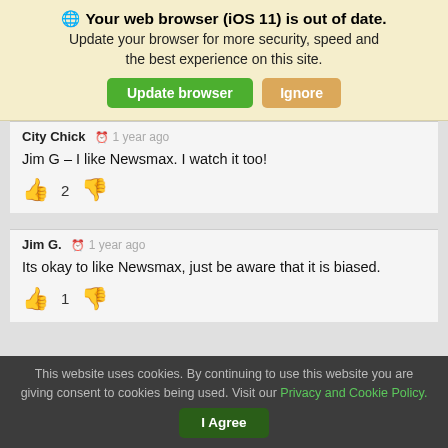🌐 Your web browser (iOS 11) is out of date. Update your browser for more security, speed and the best experience on this site.
Update browser | Ignore
City Chick  1 year ago
Jim G – I like Newsmax. I watch it too!
👍 2 👎
Jim G.  1 year ago
Its okay to like Newsmax, just be aware that it is biased.
👍 1 👎
This website uses cookies. By continuing to use this website you are giving consent to cookies being used. Visit our Privacy and Cookie Policy.
I Agree